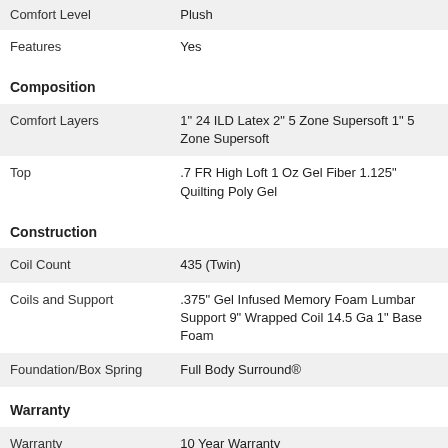| Attribute | Value |
| --- | --- |
| Comfort Level | Plush |
| Features | Yes |
| Composition |  |
| Comfort Layers | 1" 24 ILD Latex 2" 5 Zone Supersoft 1" 5 Zone Supersoft |
| Top | .7 FR High Loft 1 Oz Gel Fiber 1.125" Quilting Poly Gel |
| Construction |  |
| Coil Count | 435 (Twin) |
| Coils and Support | .375" Gel Infused Memory Foam Lumbar Support 9" Wrapped Coil 14.5 Ga 1" Base Foam |
| Foundation/Box Spring | Full Body Surround® |
| Warranty |  |
| Warranty | 10 Year Warranty |